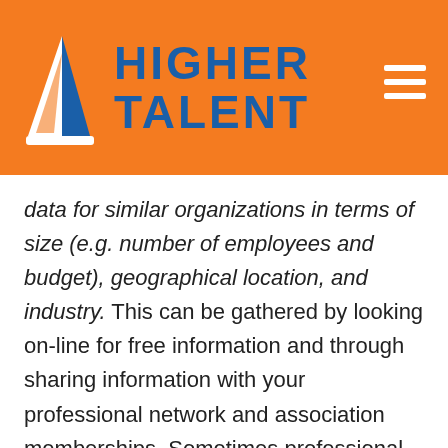[Figure (logo): Higher Talent logo: white sailboat/triangle SVG icon on orange background next to bold blue 'HIGHER TALENT' text, with hamburger menu icon top right]
data for similar organizations in terms of size (e.g. number of employees and budget), geographical location, and industry.  This can be gathered by looking on-line for free information and through sharing information with your professional network and association memberships. Sometimes professional associations perform their own compensation surveys and share this information with members at no cost.  It is important that you start by identifying your relevant market comparators.  Benchmarking yourself against other organizations in the same sector, industry,